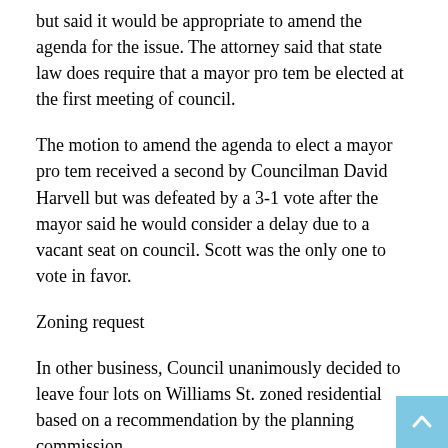but said it would be appropriate to amend the agenda for the issue. The attorney said that state law does require that a mayor pro tem be elected at the first meeting of council.
The motion to amend the agenda to elect a mayor pro tem received a second by Councilman David Harvell but was defeated by a 3-1 vote after the mayor said he would consider a delay due to a vacant seat on council. Scott was the only one to vote in favor.
Zoning request
In other business, Council unanimously decided to leave four lots on Williams St. zoned residential based on a recommendation by the planning commission.
A request was made to the town to change the zoning from